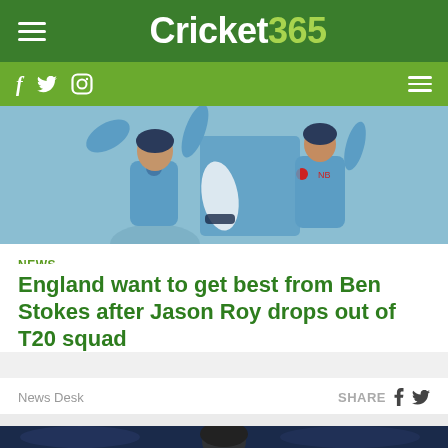Cricket365
[Figure (photo): England cricket players in light blue jerseys fielding]
NEWS
England want to get best from Ben Stokes after Jason Roy drops out of T20 squad
News Desk   SHARE
[Figure (photo): England cricket batsman in dark helmet and red uniform]